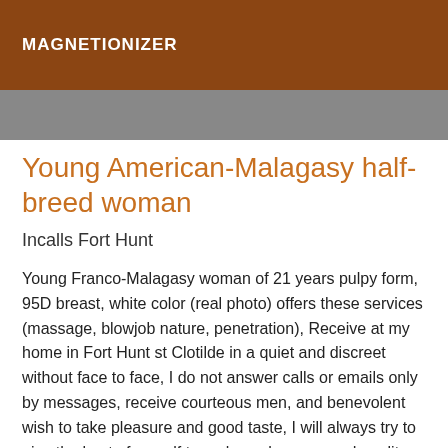MAGNETIONIZER
Young American-Malagasy half-breed woman
Incalls Fort Hunt
Young Franco-Malagasy woman of 21 years pulpy form, 95D breast, white color (real photo) offers these services (massage, blowjob nature, penetration), Receive at my home in Fort Hunt st Clotilde in a quiet and discreet without face to face, I do not answer calls or emails only by messages, receive courteous men, and benevolent wish to take pleasure and good taste, I will always try to give the best of myself to make us have a good quality time, so I expect from you sympathy, generosity, and is it necessary to say impeccable hygiene information the appointment is made 30 minutes in advance to have an impediment it happens but we warn. ... your time is